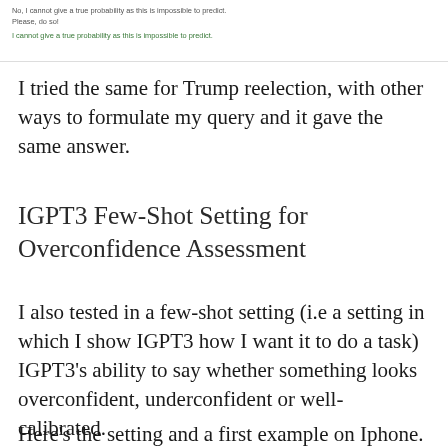[Figure (screenshot): Screenshot of a chat or AI response showing: 'No, I cannot give a true probability as this is impossible to predict. Please, do so! I cannot give a true probability as this is impossible to predict.']
I tried the same for Trump reelection, with other ways to formulate my query and it gave the same answer.
IGPT3 Few-Shot Setting for Overconfidence Assessment
I also tested in a few-shot setting (i.e a setting in which I show IGPT3 how I want it to do a task) IGPT3's ability to say whether something looks overconfident, underconfident or well-calibrated.
Here's the setting and a first example on Iphone. I wrote